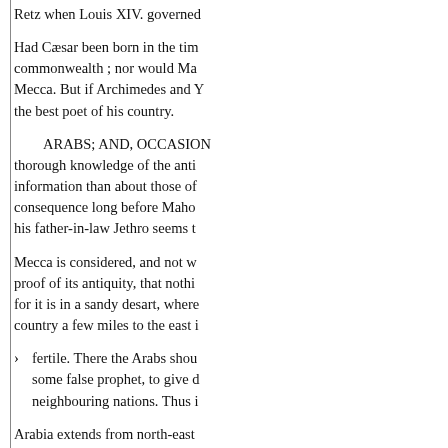Retz when Louis XIV. governed
Had Cæsar been born in the tim commonwealth ; nor would Ma Mecca. But if Archimedes and Y the best poet of his country.
ARABS; AND, OCCASION thorough knowledge of the anti information than about those of consequence long before Maho his father-in-law Jethro seems t
Mecca is considered, and not w proof of its antiquity, that nothi for it is in a sandy desart, where country a few miles to the east i
fertile. There the Arabs shou some false prophet, to give d neighbouring nations. Thus i
Arabia extends from north-east fiftieth degree of north latitude. likely that its desarts of sand we were once fertile lands.
The bul f t d h t ti i t